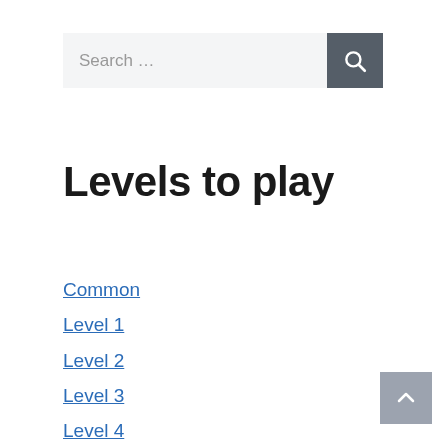[Figure (screenshot): Search bar with text input field showing 'Search ...' placeholder and a dark grey search button with magnifying glass icon]
Levels to play
Common
Level 1
Level 2
Level 3
Level 4